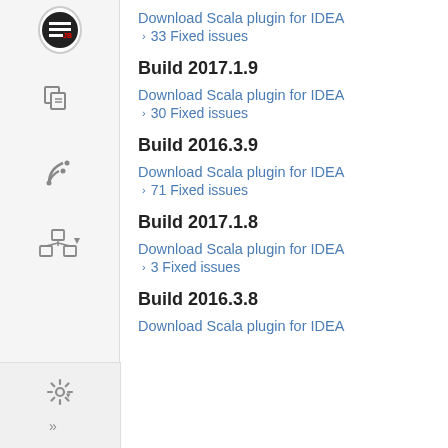Download Scala plugin for IDEA
> 33 Fixed issues
Build 2017.1.9
Download Scala plugin for IDEA
> 30 Fixed issues
Build 2016.3.9
Download Scala plugin for IDEA
> 71 Fixed issues
Build 2017.1.8
Download Scala plugin for IDEA
> 3 Fixed issues
Build 2016.3.8
Download Scala plugin for IDEA